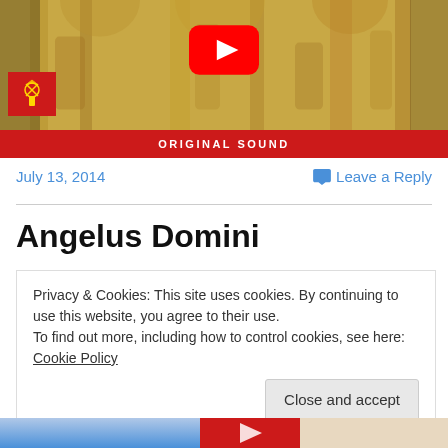[Figure (screenshot): YouTube video thumbnail showing ornate golden church interior with columns and carvings. Vatican logo (red background with crossed keys emblem) in bottom left. Large red YouTube play button in center. Red bar at bottom reads 'ORIGINAL SOUND'.]
July 13, 2014
Leave a Reply
Angelus Domini
Privacy & Cookies: This site uses cookies. By continuing to use this website, you agree to their use.
To find out more, including how to control cookies, see here: Cookie Policy
Close and accept
[Figure (photo): Bottom strip showing partial image of church interior and person, partially cut off]